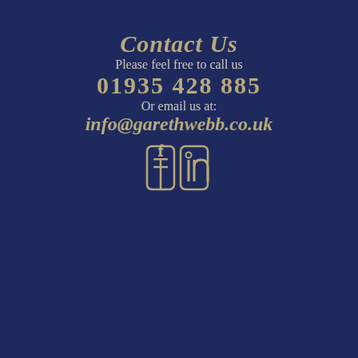Contact Us
Please feel free to call us
01935 428 885
Or email us at:
info@garethwebb.co.uk
[Figure (illustration): Facebook and LinkedIn social media icons in gold outline style on dark navy background]